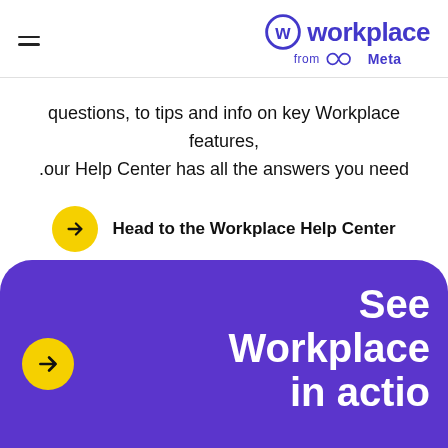Workplace from Meta
questions, to tips and info on key Workplace features, .our Help Center has all the answers you need
Head to the Workplace Help Center
[Figure (infographic): Purple rounded section with yellow arrow button and large white text reading 'See Workplace in action']